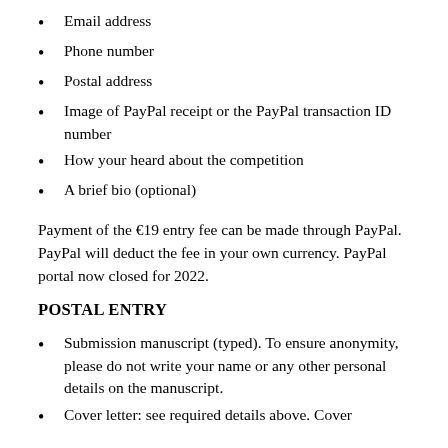Email address
Phone number
Postal address
Image of PayPal receipt or the PayPal transaction ID number
How your heard about the competition
A brief bio (optional)
Payment of the €19 entry fee can be made through PayPal. PayPal will deduct the fee in your own currency. PayPal portal now closed for 2022.
POSTAL ENTRY
Submission manuscript (typed). To ensure anonymity, please do not write your name or any other personal details on the manuscript.
Cover letter: see required details above. Cover